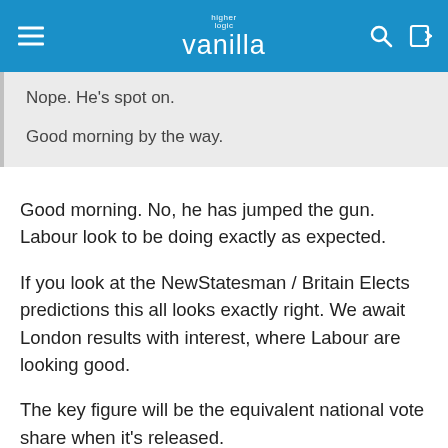higher logic vanilla
Nope. He's spot on.

Good morning by the way.
Good morning. No, he has jumped the gun. Labour look to be doing exactly as expected.
If you look at the NewStatesman / Britain Elects predictions this all looks exactly right. We await London results with interest, where Labour are looking good.
The key figure will be the equivalent national vote share when it's released.
https://sotn.newstatesman.com/2022/05/our-local-election-forecast-for-2022/